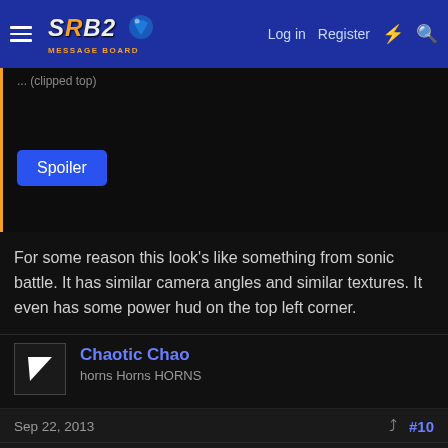SRB2 Message Board — Log in | Register
Spoiler
For some reason this look's like something from sonic battle. It has similar camera angles and similar textures. It even has some power hud on the top left corner.
Chaotic Chao
horns Horns HORNS
Sep 22, 2013  #10
I'm working on something as well. I'm not sure if I'll ever finish it, but you can bet that I'll get pretty far in the project. Basically, it aims to be (at least) an 8-zone level pack, each with 3 acts. I plan to make each act slightly short to compensate for the number of acts, but with plenty of exploration and paths to